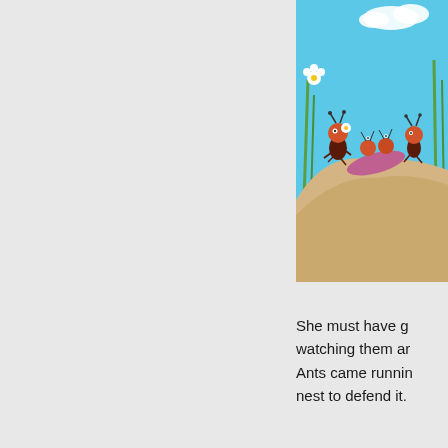[Figure (illustration): Cartoon illustration of animated ants carrying a large leaf/petal on a sandy hill path, with green grass, flowers, and a blue sky with clouds in the background.]
She must have go watching them an Ants came runnin nest to defend it.